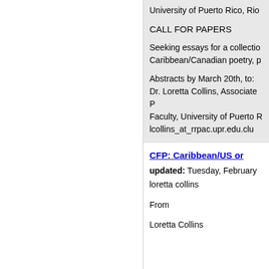University of Puerto Rico, Rio
CALL FOR PAPERS
Seeking essays for a collection Caribbean/Canadian poetry, p
Abstracts by March 20th, to: Dr. Loretta Collins, Associate Faculty, University of Puerto R lcollins_at_rrpac.upr.edu.clu
CFP: Caribbean/US or
updated: Tuesday, February
loretta collins
From
Loretta Collins